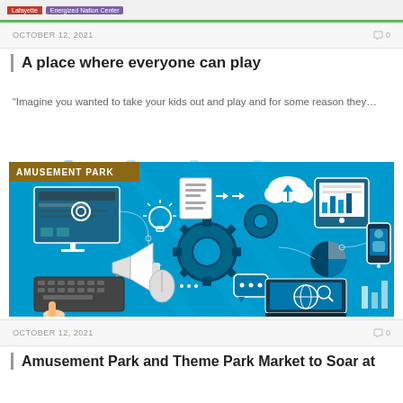[Figure (screenshot): Top navigation bar with tags: Lafayette, Energized Nation Center, and green bottom border]
OCTOBER 12, 2021  🗨 0
A place where everyone can play
"Imagine you wanted to take your kids out and play and for some reason they…
[Figure (illustration): Technology/digital marketing illustration on blue background with icons: computer monitor, gears, keyboard, megaphone, mouse, tablet, smartphone, cloud, globe, charts. Label: AMUSEMENT PARK]
OCTOBER 12, 2021  🗨 0
Amusement Park and Theme Park Market to Soar at